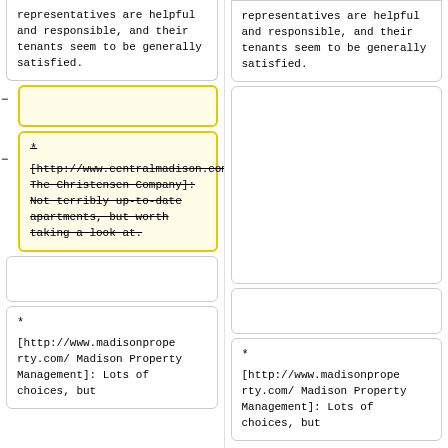representatives are helpful and responsible, and their tenants seem to be generally satisfied.
representatives are helpful and responsible, and their tenants seem to be generally satisfied.
* [http://www.centralmadison.com/ The Christensen Company]: Not terribly up-to-date apartments, but worth taking a look at.
* [http://www.madisonproperty.com/ Madison Property Management]: Lots of choices, but
* [http://www.madisonproperty.com/ Madison Property Management]: Lots of choices, but